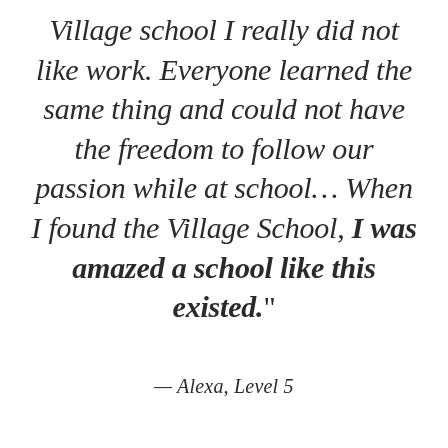Village school I really did not like work. Everyone learned the same thing and could not have the freedom to follow our passion while at school… When I found the Village School, I was amazed a school like this existed.”
— Alexa, Level 5